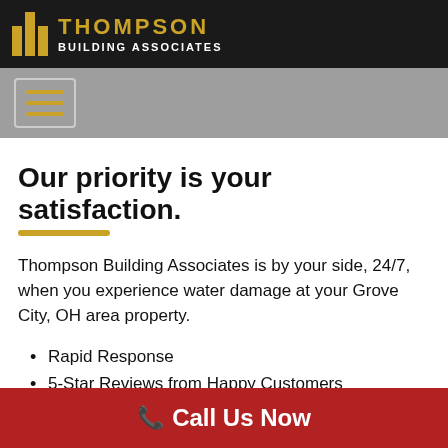[Figure (logo): Thompson Building Associates logo with gold vertical bars and white text on dark background]
[Figure (other): Navigation bar with hamburger menu button showing three gold horizontal lines on grey background]
Our priority is your satisfaction.
Thompson Building Associates is by your side, 24/7, when you experience water damage at your Grove City, OH area property.
Rapid Response
5-Star Reviews from Happy Customers
IICRC-Certified Technicians
Insurance Claims Help
Call Us Now